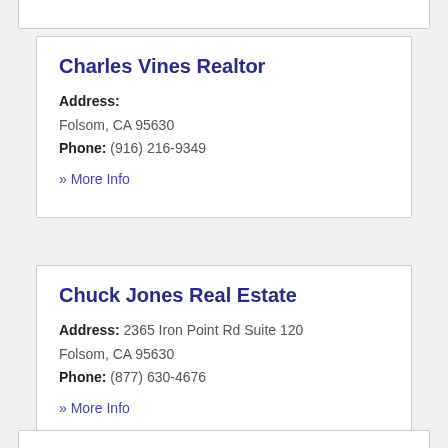Charles Vines Realtor
Address: Folsom, CA 95630
Phone: (916) 216-9349
» More Info
Chuck Jones Real Estate
Address: 2365 Iron Point Rd Suite 120 Folsom, CA 95630
Phone: (877) 630-4676
» More Info